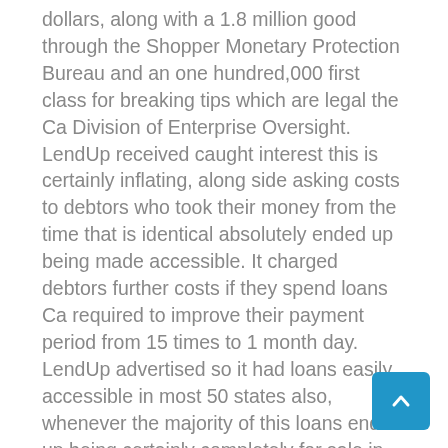dollars, along with a 1.8 million good through the Shopper Monetary Protection Bureau and an one hundred,000 first class for breaking tips which are legal the Ca Division of Enterprise Oversight. LendUp received caught interest this is certainly inflating, along side asking costs to debtors who took their money from the time that is identical absolutely ended up being made accessible. It charged debtors further costs if they spend loans Ca required to improve their payment period from 15 times to 1 month day. LendUp advertised so it had loans easily accessible in most 50 states also, whenever the majority of this loans ended up being certainly completely for sale in Ca. Finally, this company promised so that it would get re payment that is advisable that you the three credit reporting agencies to assist the shoppers improve their credit history reviews as well as in no way did. Dozens of